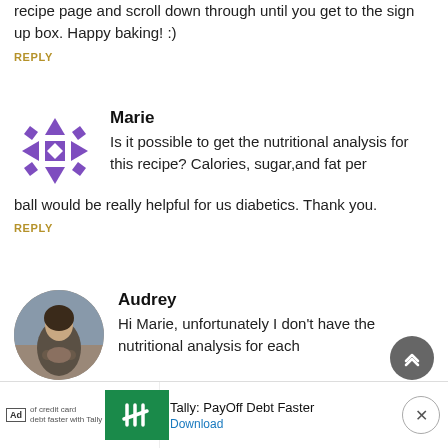recipe page and scroll down through until you get to the sign up box. Happy baking! :)
REPLY
[Figure (illustration): Purple geometric snowflake/cross avatar for user Marie]
Marie
Is it possible to get the nutritional analysis for this recipe? Calories, sugar,and fat per ball would be really helpful for us diabetics. Thank you.
REPLY
[Figure (photo): Circular profile photo of a woman (Audrey) drinking from a cup outdoors]
Audrey
Hi Marie, unfortunately I don't have the nutritional analysis for each recipe as I'm not a nutritionist and I don't tra them for myself personally — I just focus on
[Figure (infographic): Advertisement banner: Ad badge, Tally credit card logo, text 'Tally: PayOff Debt Faster', Download link, close button]